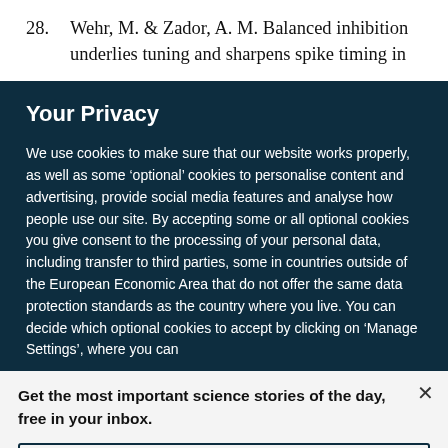28. Wehr, M. & Zador, A. M. Balanced inhibition underlies tuning and sharpens spike timing in
Your Privacy
We use cookies to make sure that our website works properly, as well as some ‘optional’ cookies to personalise content and advertising, provide social media features and analyse how people use our site. By accepting some or all optional cookies you give consent to the processing of your personal data, including transfer to third parties, some in countries outside of the European Economic Area that do not offer the same data protection standards as the country where you live. You can decide which optional cookies to accept by clicking on ‘Manage Settings’, where you can
Get the most important science stories of the day, free in your inbox.
Sign up for Nature Briefing